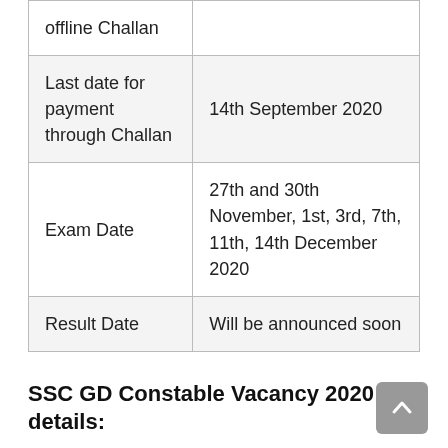| offline Challan |  |
| Last date for payment through Challan | 14th September 2020 |
| Exam Date | 27th and 30th November, 1st, 3rd, 7th, 11th, 14th December 2020 |
| Result Date | Will be announced soon |
SSC GD Constable Vacancy 2020 details:
The number of vacancies has been released by the Staff Selection Commission in the official